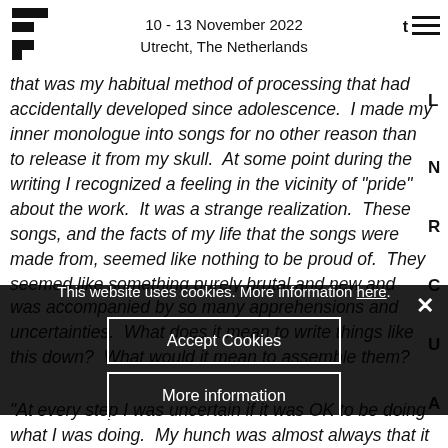10 - 13 November 2022
Utrecht, The Netherlands
that was my habitual method of processing that had accidentally developed since adolescence.  I made my inner monologue into songs for no other reason than to release it from my skull.  At some point during the writing I recognized a feeling in the vicinity of "pride" about the work.  It was a strange realization.  These songs, and the facts of my life that the songs were made from, seemed like nothing to be proud of.  They seemed like something purely brutal and new and apart from my usual conception of creative work, and the notion of sharing them — the thought of sharing them now — was accompanied by so many apprehensions and uncertainties.  What does it mean to write things like this down?  What would it mean to assemble them?  What would it mean to share it with strangers?  Where is the line of propriety?  What is anyone supposed to do with this?
"At every step I was uncertain if it was OK to be doing what I was doing.  My hunch was almost always that it was wrong.